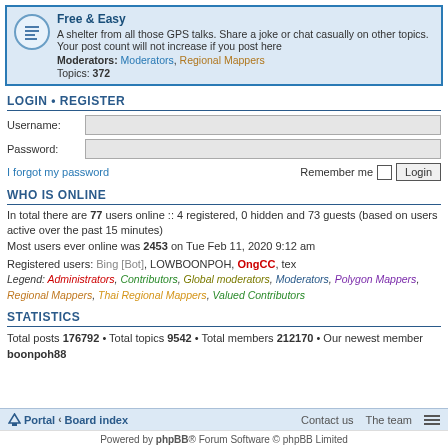Free & Easy
A shelter from all those GPS talks. Share a joke or chat casually on other topics. Your post count will not increase if you post here
Moderators: Moderators, Regional Mappers
Topics: 372
LOGIN • REGISTER
Username:
Password:
I forgot my password    Remember me  Login
WHO IS ONLINE
In total there are 77 users online :: 4 registered, 0 hidden and 73 guests (based on users active over the past 15 minutes)
Most users ever online was 2453 on Tue Feb 11, 2020 9:12 am
Registered users: Bing [Bot], LOWBOONPOH, OngCC, tex
Legend: Administrators, Contributors, Global moderators, Moderators, Polygon Mappers, Regional Mappers, Thai Regional Mappers, Valued Contributors
STATISTICS
Total posts 176792 • Total topics 9542 • Total members 212170 • Our newest member boonpoh88
Portal · Board index    Contact us   The team
Powered by phpBB® Forum Software © phpBB Limited